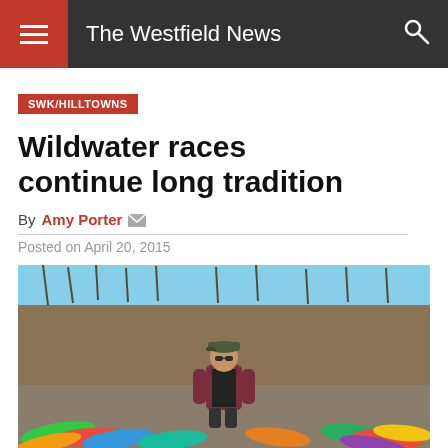The Westfield News
SWK/HILLTOWNS
Wildwater races continue long tradition
By Amy Porter
Posted on April 20, 2015
[Figure (photo): A man wearing a cap and dark jacket stands outdoors near colorful kayaks and canoes, with bare trees and blue sky in the background.]